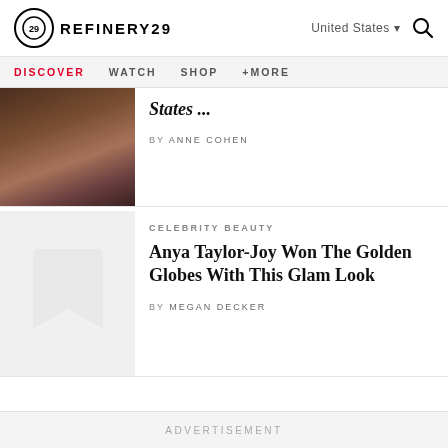REFINERY29 | United States | Search
DISCOVER  WATCH  SHOP  +MORE
States ...
by ANNE COHEN
CELEBRITY BEAUTY
Anya Taylor-Joy Won The Golden Globes With This Glam Look
by MEGAN DECKER
ADVERTISEMENT